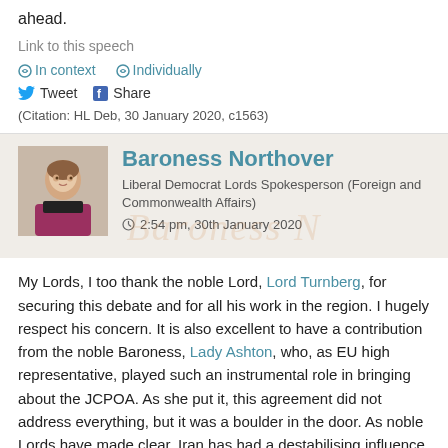ahead.
Link to this speech
In context   Individually
Tweet   Share
(Citation: HL Deb, 30 January 2020, c1563)
Baroness Northover
Liberal Democrat Lords Spokesperson (Foreign and Commonwealth Affairs)
2:54 pm, 30th January 2020
My Lords, I too thank the noble Lord, Lord Turnberg, for securing this debate and for all his work in the region. I hugely respect his concern. It is also excellent to have a contribution from the noble Baroness, Lady Ashton, who, as EU high representative, played such an instrumental role in bringing about the JCPOA. As she put it, this agreement did not address everything, but it was a boulder in the door. As noble Lords have made clear, Iran has had a destabilising influence in the region, often through proxies such as the Houthis, Hamas and Hezbollah. There are also terrible human rights abuses in the country. That is why this